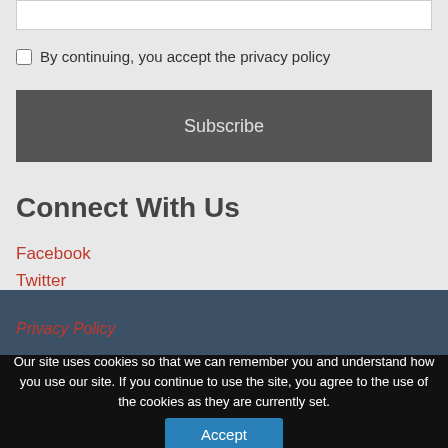By continuing, you accept the privacy policy
Subscribe
Connect With Us
Facebook
Twitter
Youtube
Pinterest
Privacy Policy
Our site uses cookies so that we can remember you and understand how you use our site. If you continue to use the site, you agree to the use of the cookies as they are currently set.
Accept